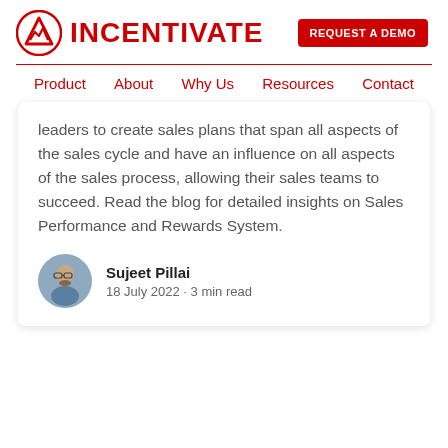INCENTIVATE — REQUEST A DEMO
Product  About  Why Us  Resources  Contact
leaders to create sales plans that span all aspects of the sales cycle and have an influence on all aspects of the sales process, allowing their sales teams to succeed. Read the blog for detailed insights on Sales Performance and Rewards System.
Sujeet Pillai
18 July 2022 · 3 min read